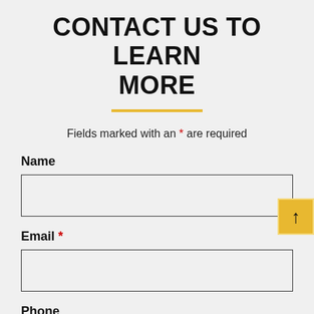CONTACT US TO LEARN MORE
Fields marked with an * are required
Name
Email *
Phone